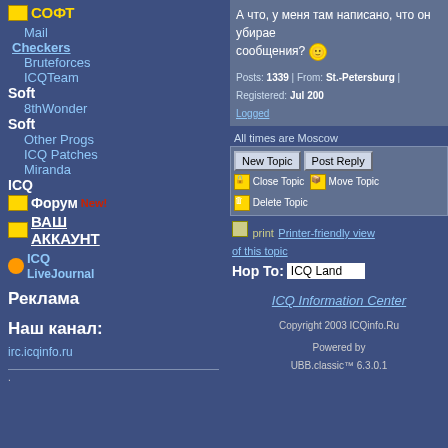СОФТ
Mail
Checkers
Bruteforces
ICQTeam
Soft
8thWonder
Soft
Other Progs
ICQ Patches
Miranda
ICQ
Форум NEW!
ВАШ АККАУНТ
ICQ LiveJournal
Реклама
Наш канал:
irc.icqinfo.ru
А что, у меня там написано, что он убирает сообщения? 😊
Posts: 1339 | From: St.-Petersburg | Registered: Jul 2002 | Logged
All times are Moscow
New Topic  Post Reply  Close Topic  Move Topic  Delete Topic
print  Printer-friendly view of this topic  Hop To: ICQ Land
ICQ Information Center
Copyright 2003 ICQinfo.Ru
Powered by UBB.classic™ 6.3.0.1